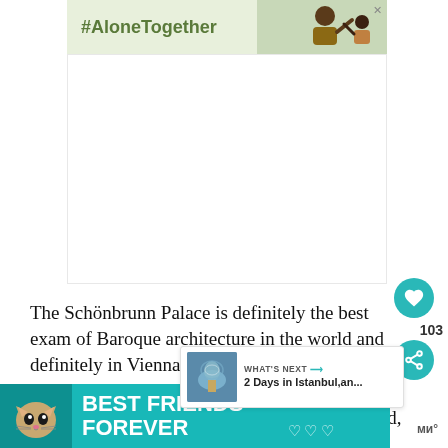[Figure (screenshot): Top advertisement banner with light green background showing #AloneTogether hashtag text and a photo of a man waving on a video call with a child]
The Schönbrunn Palace is definitely the best exam of Baroque architecture in the world and definitely in Vienna. It's a UNESCO World Cultural H and it's a very popular historic attraction that is worth visiting. Strolling around, you'll be able to e along
[Figure (screenshot): What's Next widget showing '2 Days in Istanbul, an...' with a thumbnail of a mosque]
[Figure (screenshot): Bottom advertisement banner in teal/cyan color with a cat photo and text 'BEST FRIENDS FOREVER' with hearts]